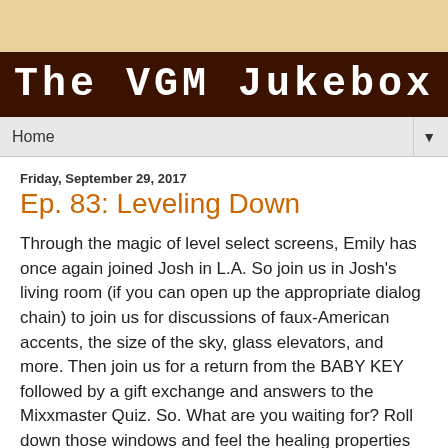[Figure (other): Decorative tan/beige banner at top of page]
The VGM Jukebox
Home ▼
Friday, September 29, 2017
Ep. 83: Leveling Down
Through the magic of level select screens, Emily has once again joined Josh in L.A. So join us in Josh's living room (if you can open up the appropriate dialog chain) to join us for discussions of faux-American accents, the size of the sky, glass elevators, and more. Then join us for a return from the BABY KEY followed by a gift exchange and answers to the Mixxmaster Quiz. So. What are you waiting for? Roll down those windows and feel the healing properties of this episode!
The VGM Jukebox is on iTunes!